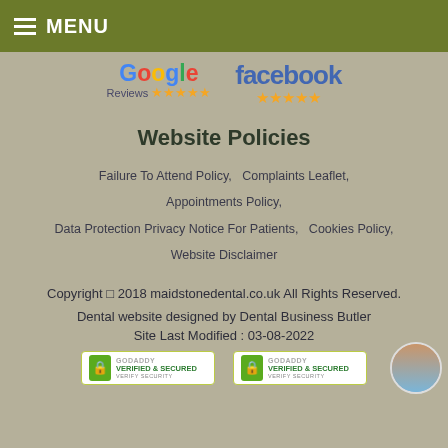MENU
[Figure (logo): Google Reviews 5-star logo and Facebook 5-star logo side by side]
Website Policies
Failure To Attend Policy, Complaints Leaflet, Appointments Policy, Data Protection Privacy Notice For Patients, Cookies Policy, Website Disclaimer
Copyright © 2018 maidstonedental.co.uk All Rights Reserved.
Dental website designed by Dental Business Builder
Site Last Modified : 03-08-2022
[Figure (logo): Two GoDaddy Verified & Secured badges]